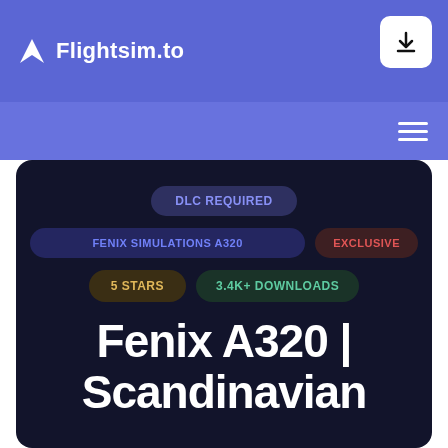Flightsim.to
[Figure (screenshot): Flightsim.to website page showing a Fenix A320 Scandinavian livery addon listing with tags: DLC REQUIRED, FENIX SIMULATIONS A320, EXCLUSIVE, 5 STARS, 3.4K+ DOWNLOADS]
Fenix A320 | Scandinavian